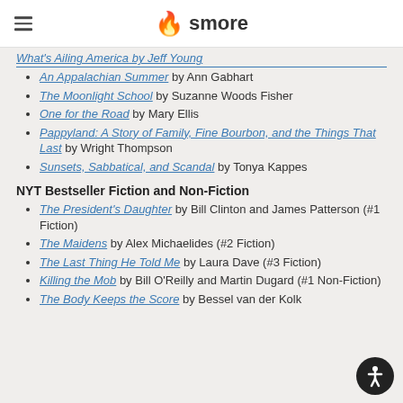smore
What's Ailing America by Jeff Young
An Appalachian Summer by Ann Gabhart
The Moonlight School by Suzanne Woods Fisher
One for the Road by Mary Ellis
Pappyland: A Story of Family, Fine Bourbon, and the Things That Last by Wright Thompson
Sunsets, Sabbatical, and Scandal by Tonya Kappes
NYT Bestseller Fiction and Non-Fiction
The President's Daughter by Bill Clinton and James Patterson (#1 Fiction)
The Maidens by Alex Michaelides (#2 Fiction)
The Last Thing He Told Me by Laura Dave (#3 Fiction)
Killing the Mob by Bill O'Reilly and Martin Dugard (#1 Non-Fiction)
The Body Keeps the Score by Bessel van der Kolk (#2 Non-Fiction)